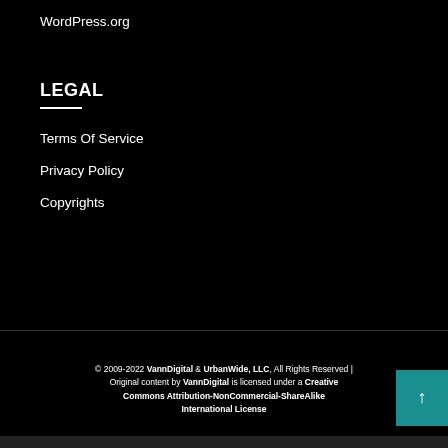WordPress.org
LEGAL
Terms Of Service
Privacy Policy
Copyrights
© 2009-2022 VannDigital & UrbanWide, LLC, All Rights Reserved | Original content by VannDigital is licensed under a Creative Commons Attribution-NonCommercial-ShareAlike International License